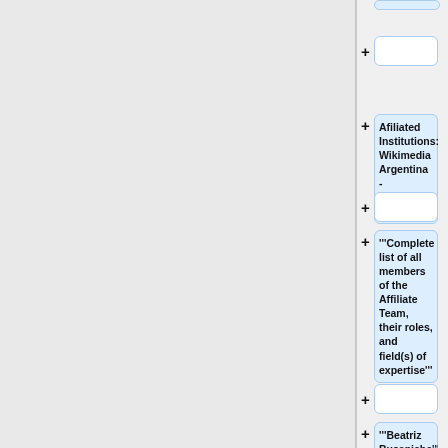[Figure (flowchart): A vertical flowchart/tree diagram showing expandable nodes with plus signs. Visible nodes include: a partially visible node at top, two empty/collapsed nodes, a node with text 'Afiliated Institutions: Wikimedia Argentina - Fundación Via Libre', another empty node, a node with text "'''Complete list of all members of the Affiliate Team, their roles, and field(s) of expertise'''", another empty node, and a partially visible node with text "'''Beatriz Busaniche''' is a". The left panel is a grey area with a vertical divider.]